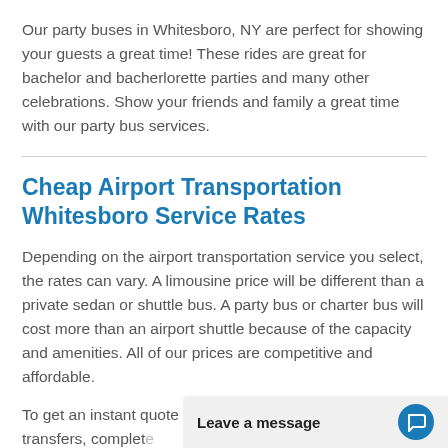Our party buses in Whitesboro, NY are perfect for showing your guests a great time! These rides are great for bachelor and bacherlorette parties and many other celebrations. Show your friends and family a great time with our party bus services.
Cheap Airport Transportation Whitesboro Service Rates
Depending on the airport transportation service you select, the rates can vary. A limousine price will be different than a private sedan or shuttle bus. A party bus or charter bus will cost more than an airport shuttle because of the capacity and amenities. All of our prices are competitive and affordable.
To get an instant quote for our airport shuttle services or transfers, complet… We have executive di…